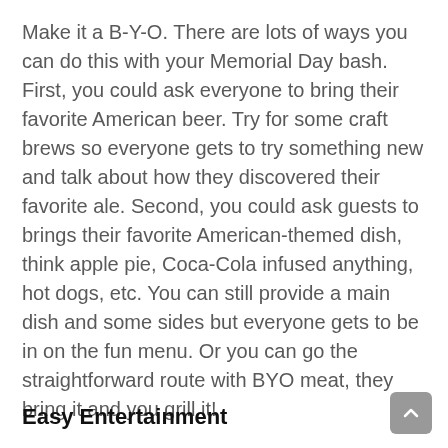Make it a B-Y-O. There are lots of ways you can do this with your Memorial Day bash. First, you could ask everyone to bring their favorite American beer. Try for some craft brews so everyone gets to try something new and talk about how they discovered their favorite ale. Second, you could ask guests to brings their favorite American-themed dish, think apple pie, Coca-Cola infused anything, hot dogs, etc. You can still provide a main dish and some sides but everyone gets to be in on the fun menu. Or you can go the straightforward route with BYO meat, they bring it and you grill it!
Easy Entertainment